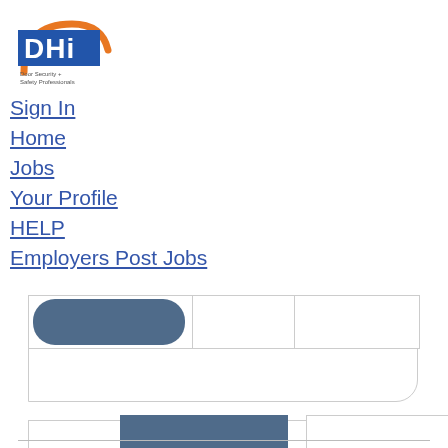[Figure (logo): DHI Door Security + Safety Professionals logo with orange arch and blue text]
Sign In
Home
Jobs
Your Profile
HELP
Employers Post Jobs
[Figure (screenshot): Job search interface with tab bar, two search input fields (keyword and location), and Search/Clear buttons]